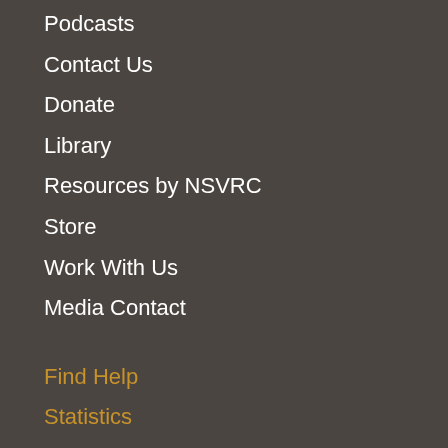Podcasts
Contact Us
Donate
Library
Resources by NSVRC
Store
Work With Us
Media Contact
Find Help
Statistics
Get Involved
Donate
Library
Search the Site
Trying to Log In?